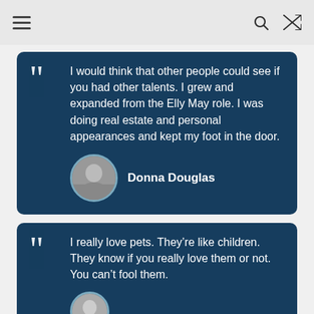Navigation bar with menu, search, and shuffle icons
I would think that other people could see if you had other talents. I grew and expanded from the Elly May role. I was doing real estate and personal appearances and kept my foot in the door.
Donna Douglas
I really love pets. They’re like children. They know if you really love them or not. You can’t fool them.